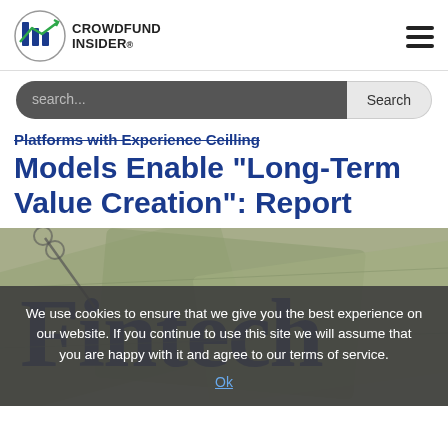CROWDFUND INSIDER
search...
Platforms with Experience Ceiling Models Enable “Long-Term Value Creation”: Report
[Figure (photo): Fintech text overlaid on US dollar bills background image]
We use cookies to ensure that we give you the best experience on our website. If you continue to use this site we will assume that you are happy with it and agree to our terms of service.